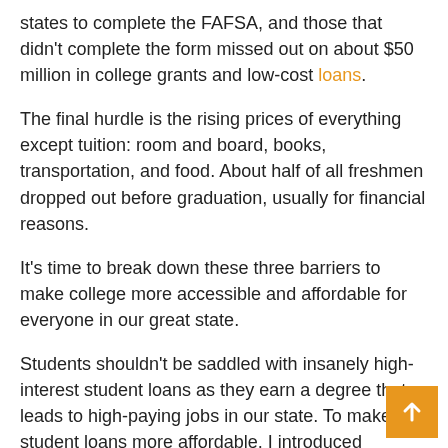states to complete the FAFSA, and those that didn't complete the form missed out on about $50 million in college grants and low-cost loans.
The final hurdle is the rising prices of everything except tuition: room and board, books, transportation, and food. About half of all freshmen dropped out before graduation, usually for financial reasons.
It's time to break down these three barriers to make college more accessible and affordable for everyone in our great state.
Students shouldn't be saddled with insanely high-interest student loans as they earn a degree that leads to high-paying jobs in our state. To make student loans more affordable, I introduced legislation (House Bill 1736) establishing a public student loan fund that would provide loans with an interest rate of just 1% to Washington undergraduates and graduate students pursuing some of the most in-demand fields. This will be funded by a one-time injection of $200 million to create a